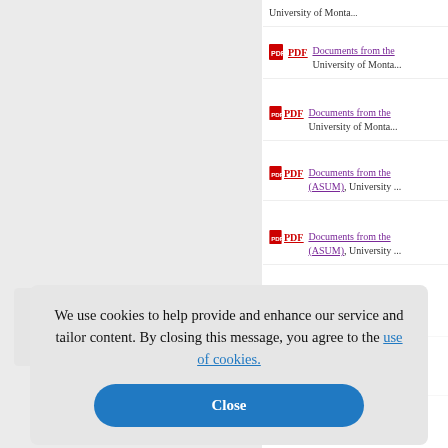PDF Documents from the University of Montan...
PDF Documents from the University of Montan...
PDF Documents from the (ASUM), University ...
PDF Documents from the (ASUM), University ...
PDF Documents from the University of Montan...
PDF Documents from the (ASUM), University ...
PDF Documents from the (ASUM), University ...
We use cookies to help provide and enhance our service and tailor content. By closing this message, you agree to the use of cookies.
Close